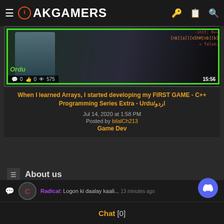PAKGAMERS
[Figure (screenshot): Video thumbnail showing C++ code with a green border, stats showing 0 comments, 0 likes, 575 views, duration 15:56, and label 'Ordu']
When I learned Arrays, I started developing my FIRST GAME - C++ Programming Series Extra - Urdu/اردو
Jul 14, 2020 at 1:58 PM
Posted by bilalCh213
Game Dev
About us
Our community has been around for many years and pride ourselves on offering unbiased, critical discussion among people of all different
Radical: Logon ki daalay kaali...  13 minutes ago
Chat [0]